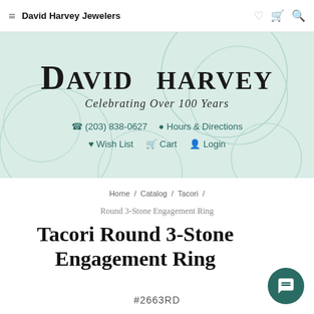David Harvey Jewelers
[Figure (logo): David Harvey Jewelers logo on mint green hero banner. Large serif text 'DAVID HARVEY' with italic tagline 'Celebrating Over 100 Years'. Contact info: phone (203) 838-0627, Hours & Directions, Wish List, Cart, Login links.]
Home / Catalog / Tacori /
Round 3-Stone Engagement Ring
Tacori Round 3-Stone Engagement Ring
#2663RD